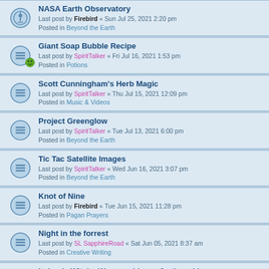NASA Earth Observatory
Last post by Firebird « Sun Jul 25, 2021 2:20 pm
Posted in Beyond the Earth
Giant Soap Bubble Recipe
Last post by SpiritTalker « Fri Jul 16, 2021 1:53 pm
Posted in Potions
Scott Cunningham's Herb Magic
Last post by SpiritTalker « Thu Jul 15, 2021 12:09 pm
Posted in Music & Videos
Project Greenglow
Last post by SpiritTalker « Tue Jul 13, 2021 6:00 pm
Posted in Beyond the Earth
Tic Tac Satellite Images
Last post by SpiritTalker « Wed Jun 16, 2021 3:07 pm
Posted in Beyond the Earth
Knot of Nine
Last post by Firebird « Tue Jun 15, 2021 11:28 pm
Posted in Pagan Prayers
Night in the forrest
Last post by SL SapphireRoad « Sat Jun 05, 2021 8:37 am
Posted in Creative Writing
Irelands Witchy Women video. + 2 other videos.
Last post by Nerys « Fri May 28, 2021 6:50 am
Posted in Websites, Media and Services
ET Message in Giza Pyramid Plateau